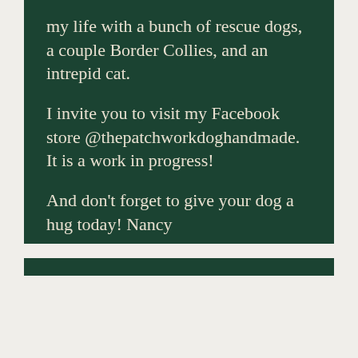my life with a bunch of rescue dogs, a couple Border Collies,  and an intrepid cat.
I invite you to visit my Facebook store @thepatchworkdoghandmade.  It is a work in progress!
And don't forget to give your dog a hug today!  Nancy